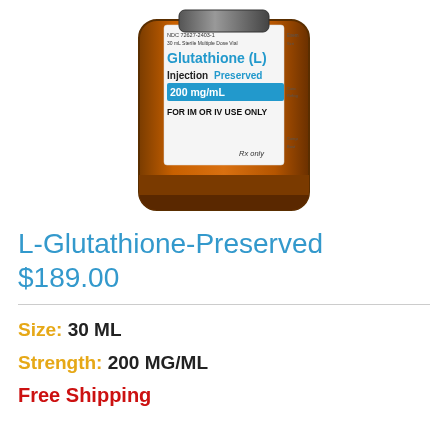[Figure (photo): Amber glass medication vial with a white label reading: NDC 72627-2403-1, 30 mL Sterile Multiple Dose Vial, Glutathione (L) Injection Preserved, 200 mg/mL, FOR IM OR IV USE ONLY, Rx only]
L-Glutathione-Preserved
$189.00
Size: 30 ML
Strength: 200 MG/ML
Free Shipping